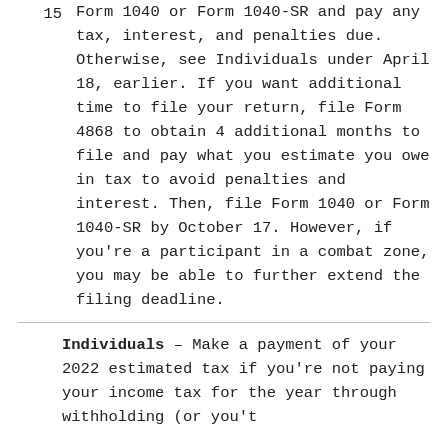15 Form 1040 or Form 1040-SR and pay any tax, interest, and penalties due. Otherwise, see Individuals under April 18, earlier. If you want additional time to file your return, file Form 4868 to obtain 4 additional months to file and pay what you estimate you owe in tax to avoid penalties and interest. Then, file Form 1040 or Form 1040-SR by October 17. However, if you're a participant in a combat zone, you may be able to further extend the filing deadline.
Individuals – Make a payment of your 2022 estimated tax if you're not paying your income tax for the year through withholding (or you't